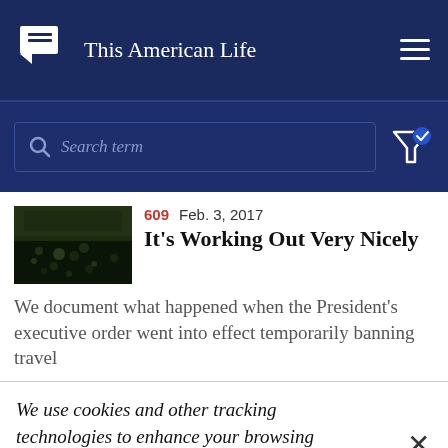This American Life
Search term
[Figure (photo): Thumbnail photo of a crowd at night]
609 Feb. 3, 2017 It's Working Out Very Nicely
We document what happened when the President's executive order went into effect temporarily banning travel
We use cookies and other tracking technologies to enhance your browsing experience. If you continue to use our site, you agree to the use of such cookies. For more info, see our privacy policy.